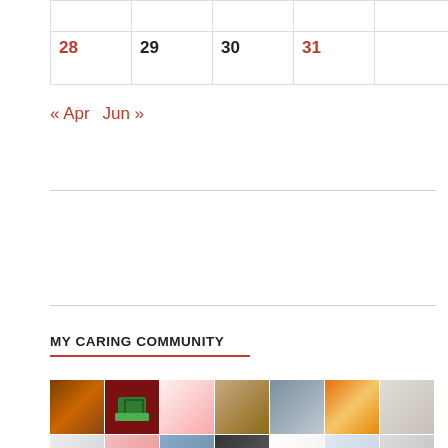|  |  |  |  |  |  |  |
| 28 | 29 | 30 | 31 |  |  |  |
« Apr  Jun »
MY CARING COMMUNITY
[Figure (photo): Grid of community member profile photos, two rows visible]